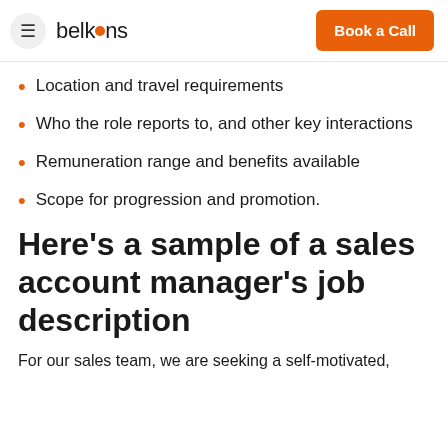belkins | Book a Call
Location and travel requirements
Who the role reports to, and other key interactions
Remuneration range and benefits available
Scope for progression and promotion.
Here’s a sample of a sales account manager’s job description
For our sales team, we are seeking a self-motivated,